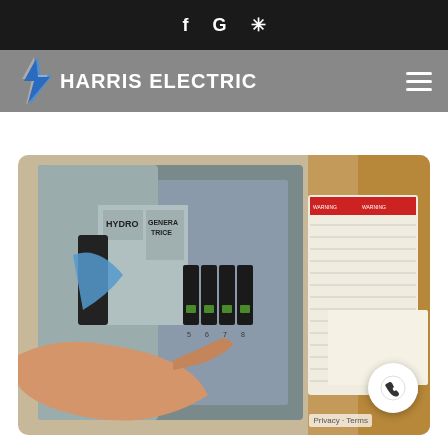we have the skill and experience necessary to make sure the job
HARRIS ELECTRIC
[Figure (photo): Close-up photograph of a hand pointing at circuit breakers in an electrical panel labeled HYDRO and GENERAL TRICE, with a label/sticker sheet visible on the right side of the panel.]